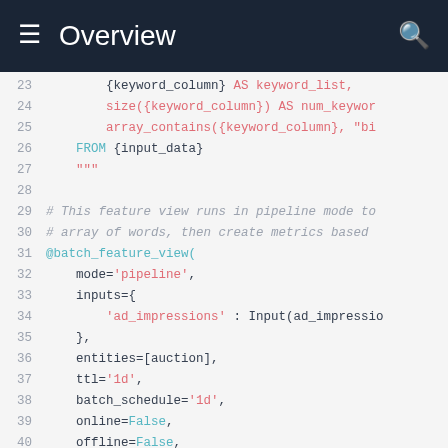Overview
[Figure (screenshot): Code editor screenshot showing Python code lines 23-43 with syntax highlighting on a light gray background. Dark teal header with hamburger menu, 'Overview' title, and search icon.]